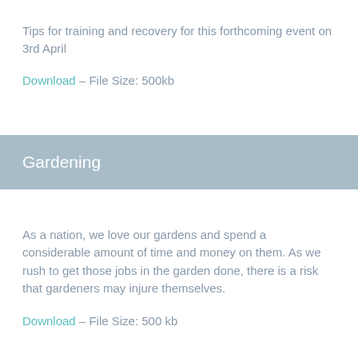Tips for training and recovery for this forthcoming event on 3rd April
Download – File Size: 500kb
Gardening
As a nation, we love our gardens and spend a considerable amount of time and money on them. As we rush to get those jobs in the garden done, there is a risk that gardeners may injure themselves.
Download – File Size: 500 kb